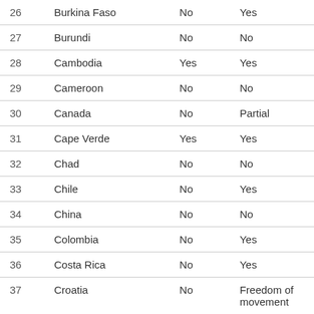| # | Country | Col3 | Col4 |
| --- | --- | --- | --- |
| 26 | Burkina Faso | No | Yes |
| 27 | Burundi | No | No |
| 28 | Cambodia | Yes | Yes |
| 29 | Cameroon | No | No |
| 30 | Canada | No | Partial |
| 31 | Cape Verde | Yes | Yes |
| 32 | Chad | No | No |
| 33 | Chile | No | Yes |
| 34 | China | No | No |
| 35 | Colombia | No | Yes |
| 36 | Costa Rica | No | Yes |
| 37 | Croatia | No | Freedom of movement |
| 38 | Cuba | No | Yes |
| 39 | Cyprus | No | Freedom of movement |